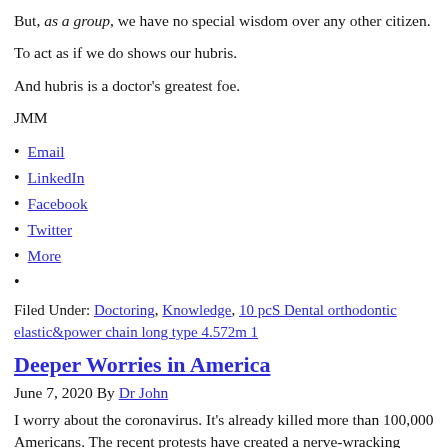But, as a group, we have no special wisdom over any other citizen.
To act as if we do shows our hubris.
And hubris is a doctor's greatest foe.
JMM
Email
LinkedIn
Facebook
Twitter
More
Filed Under: Doctoring, Knowledge, 10 pcS Dental orthodontic elastic&power chain long type 4.572m 1
Deeper Worries in America
June 7, 2020 By Dr John
I worry about the coronavirus. It's already killed more than 100,000 Americans. The recent protests have created a nerve-wracking public health situation for the next weeks.